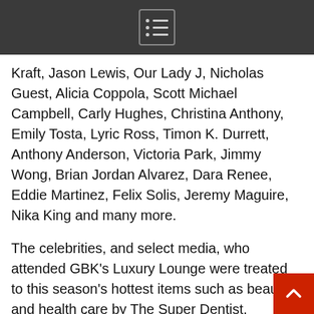Kraft, Jason Lewis, Our Lady J, Nicholas Guest, Alicia Coppola, Scott Michael Campbell, Carly Hughes, Christina Anthony, Emily Tosta, Lyric Ross, Timon K. Durrett, Anthony Anderson, Victoria Park, Jimmy Wong, Brian Jordan Alvarez, Dara Renee, Eddie Martinez, Felix Solis, Jeremy Maguire, Nika King and many more.
The celebrities, and select media, who attended GBK's Luxury Lounge were treated to this season's hottest items such as beauty and health care by The Super Dentist, Dermafirm USA, Glenn Ivy Hot Springs, AKA Cosmetic, New England Hemp Farm, Harmony Proteins; Trips by Sailrock Resorts and S Hotel Montego Bay Jamaica presented by Swanky Resorts; Clothing & jewe by Trico Field & ZuZu Kim; cool tech and gadgets by Silent Mode, Nature Bright Company, Go Easel, iiRcade, Genius and other gifts by Hestan Vineyards, La